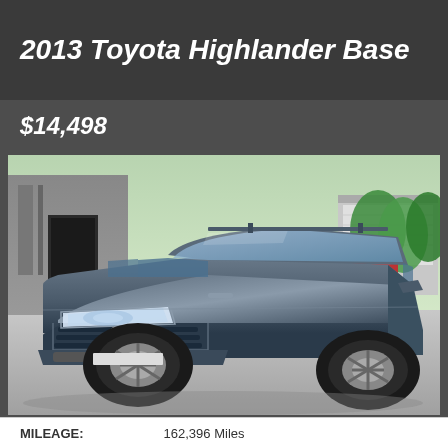2013 Toyota Highlander Base
$14,498
[Figure (photo): 2013 Toyota Highlander Base SUV in gray/charcoal color, photographed from a front 3/4 angle in a parking lot. The SUV shows the front grille with Toyota logo, headlights, and hood. A building and green trees are visible in the background.]
MILEAGE: 162,396 Miles